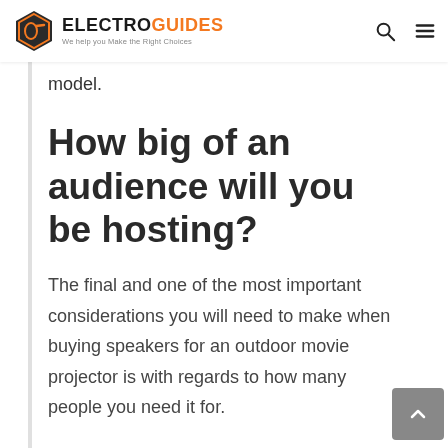ELECTROGUIDES — We help you Make the Right Choices
model.
How big of an audience will you be hosting?
The final and one of the most important considerations you will need to make when buying speakers for an outdoor movie projector is with regards to how many people you need it for.